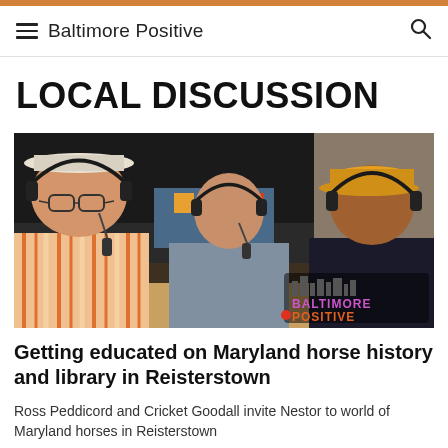Baltimore Positive
LOCAL DISCUSSION
[Figure (photo): Three people wearing headphones and microphones seated at a table under a tent canopy outdoors, appearing to be recording a podcast or radio segment. A Baltimore Positive logo appears in the lower right corner.]
Getting educated on Maryland horse history and library in Reisterstown
Ross Peddicord and Cricket Goodall invite Nestor to world of Maryland horses in Reisterstown